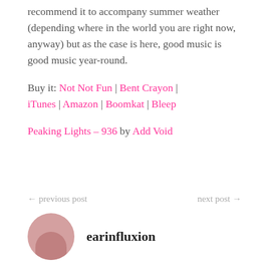recommend it to accompany summer weather (depending where in the world you are right now, anyway) but as the case is here, good music is good music year-round.
Buy it: Not Not Fun | Bent Crayon | iTunes | Amazon | Boomkat | Bleep
Peaking Lights – 936 by Add Void
← previous post   next post →
earinfluxion